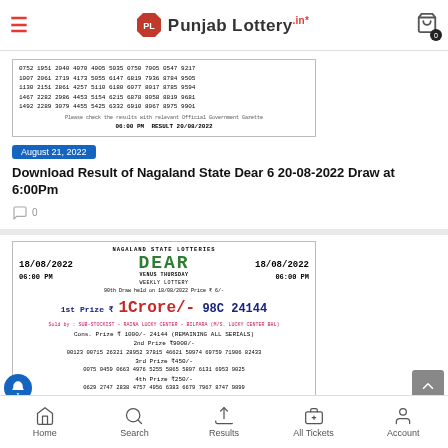PL Punjab Lottery.in — cart 0
[Figure (screenshot): Lottery result sheet showing rows of numbers for a draw result with footer text and timestamp 06:00 PM RESULT 20/08/2022]
August 21, 2022
Download Result of Nagaland State Dear 6 20-08-2022 Draw at 6:00Pm
0
[Figure (screenshot): Nagaland State Lotteries Dear Venus Thursday Weekly Lottery 18/08/2022 06:00 PM result ticket. 1st Prize 1 Crore/- 98C 24144. Cons. Prize 1000/- 24144 (REMAINING ALL SERIALS). 2nd Prize 9000/-. 3rd Prize 450/-. 4th Prize 250/-.]
Home  Search  Results  All Tickets  Account